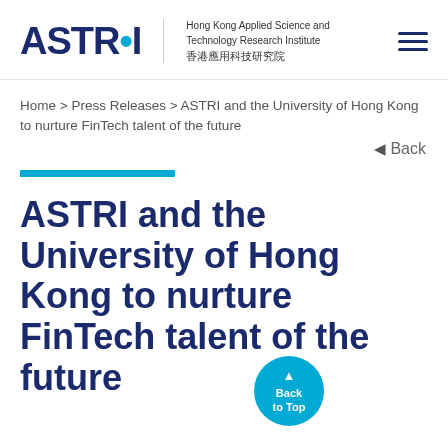[Figure (logo): ASTRI logo — Hong Kong Applied Science and Technology Research Institute, 香港應用科技研究院]
Home > Press Releases > ASTRI and the University of Hong Kong to nurture FinTech talent of the future
Back
ASTRI and the University of Hong Kong to nurture FinTech talent of the future
[Figure (illustration): Back to Top circular button]